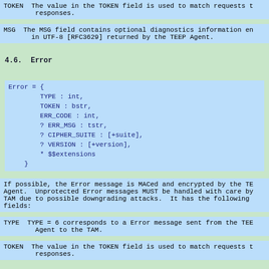TOKEN  The value in the TOKEN field is used to match requests to responses.
MSG  The MSG field contains optional diagnostics information encoded in UTF-8 [RFC3629] returned by the TEEP Agent.
4.6.  Error
Error = {
    TYPE : int,
    TOKEN : bstr,
    ERR_CODE : int,
    ? ERR_MSG : tstr,
    ? CIPHER_SUITE : [+suite],
    ? VERSION : [+version],
    * $$extensions
}
If possible, the Error message is MACed and encrypted by the TEEP Agent.  Unprotected Error messages MUST be handled with care by the TAM due to possible downgrading attacks.  It has the following fields:
TYPE  TYPE = 6 corresponds to a Error message sent from the TEEP Agent to the TAM.
TOKEN  The value in the TOKEN field is used to match requests to responses.
ERR_CODE  The ERR_CODE field is populated with values listed in